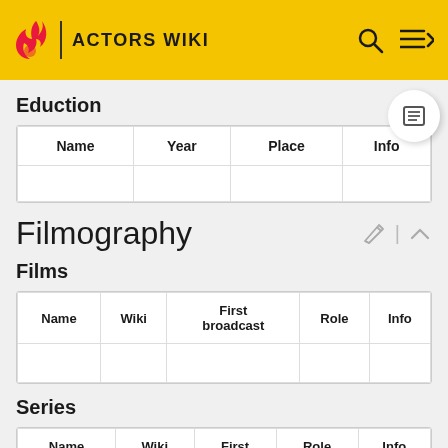ACTORS WIKI
Eduction
| Name | Year | Place | Info |
| --- | --- | --- | --- |
|  |  |  |  |
Filmography
Films
| Name | Wiki | First broadcast | Role | Info |
| --- | --- | --- | --- | --- |
Series
| Name | Wiki | First | Role | Info |
| --- | --- | --- | --- | --- |